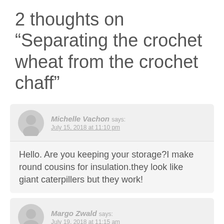2 thoughts on “Separating the crochet wheat from the crochet chaff”
Michelle Vachon says:
July 15, 2018 at 11:10 pm
Hello. Are you keeping your storage?I make round cousins for insulation.they look like giant caterpillers but they work!
Margo Zwald says:
July 19, 2018 at 11:15 am